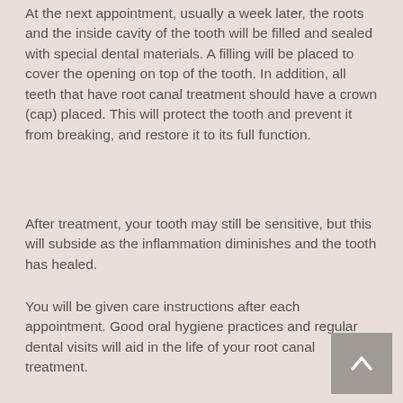At the next appointment, usually a week later, the roots and the inside cavity of the tooth will be filled and sealed with special dental materials.  A filling will be placed to cover the opening on top of the tooth.  In addition, all teeth that have root canal treatment should have a crown (cap) placed.  This will protect the tooth and prevent it from breaking, and restore it to its full function.
After treatment, your tooth may still be sensitive, but this will subside as the inflammation diminishes and the tooth has healed.
You will be given care instructions after each appointment.  Good oral hygiene practices and regular dental visits will aid in the life of your root canal treatment.